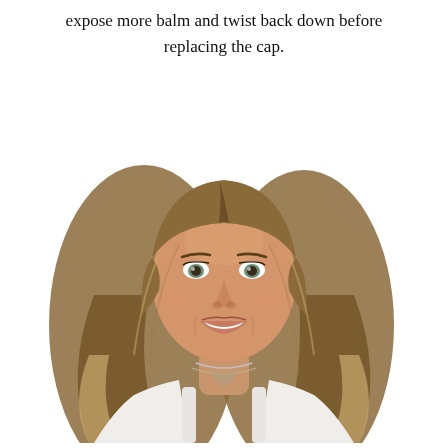expose more balm and twist back down before replacing the cap.
[Figure (photo): Portrait photo of a smiling young woman with long brown-to-blonde ombre hair, wearing a white sleeveless top and a layered silver necklace, leaning slightly forward against a white background.]